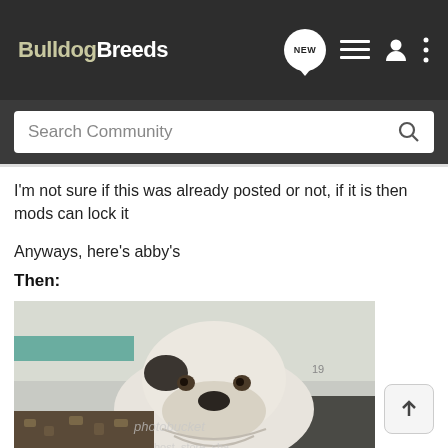BulldogBreeds [NEW] [list icon] [user icon] [menu icon]
Search Community
I'm not sure if this was already posted or not, if it is then mods can lock it
Anyways, here's abby's
Then:
[Figure (photo): A white and black bulldog puppy resting its head and chin on a surface, looking at the camera. There is a photobucket watermark visible. The dog appears to be in a shelter or kennel setting with a teal/green surface visible in the background.]